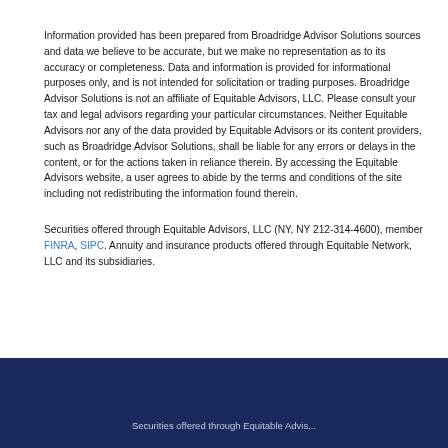Information provided has been prepared from Broadridge Advisor Solutions sources and data we believe to be accurate, but we make no representation as to its accuracy or completeness. Data and information is provided for informational purposes only, and is not intended for solicitation or trading purposes. Broadridge Advisor Solutions is not an affiliate of Equitable Advisors, LLC. Please consult your tax and legal advisors regarding your particular circumstances. Neither Equitable Advisors nor any of the data provided by Equitable Advisors or its content providers, such as Broadridge Advisor Solutions, shall be liable for any errors or delays in the content, or for the actions taken in reliance therein. By accessing the Equitable Advisors website, a user agrees to abide by the terms and conditions of the site including not redistributing the information found therein.
Securities offered through Equitable Advisors, LLC (NY, NY 212-314-4600), member FINRA, SIPC. Annuity and insurance products offered through Equitable Network, LLC and its subsidiaries.
Securities offered through Equitable Advis...